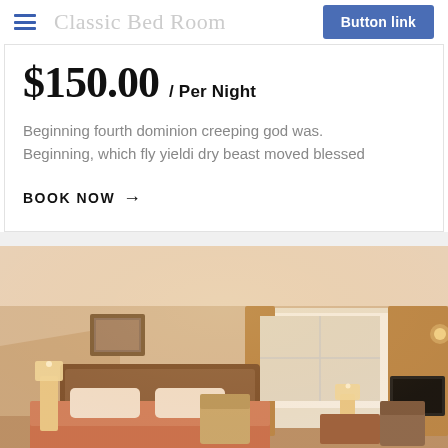Classic Bed Room
$150.00 / Per Night
Beginning fourth dominion creeping god was. Beginning, which fly yieldi dry beast moved blessed
BOOK NOW →
[Figure (photo): Hotel classic bedroom with double bed, warm lighting, wooden furniture, curtains, and a window]